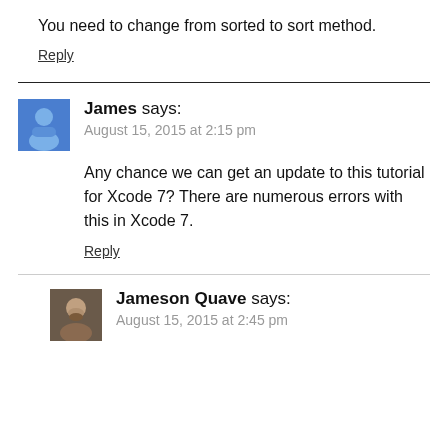You need to change from sorted to sort method.
Reply
James says: August 15, 2015 at 2:15 pm
Any chance we can get an update to this tutorial for Xcode 7? There are numerous errors with this in Xcode 7.
Reply
Jameson Quave says: August 15, 2015 at 2:45 pm